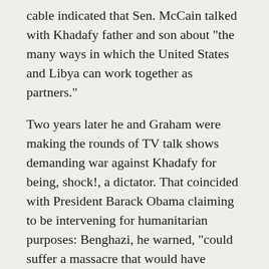cable indicated that Sen. McCain talked with Khadafy father and son about "the many ways in which the United States and Libya can work together as partners."
Two years later he and Graham were making the rounds of TV talk shows demanding war against Khadafy for being, shock!, a dictator. That coincided with President Barack Obama claiming to be intervening for humanitarian purposes: Benghazi, he warned, "could suffer a massacre that would have reverberated across the region and stained the conscience of the world." However, he, like officials around the globe, usually spout humanitarian slogans to camouflage their real agendas.
Obama's claim was fraudulent, a blatant lie. The administration cited a Khadafy speech threatening